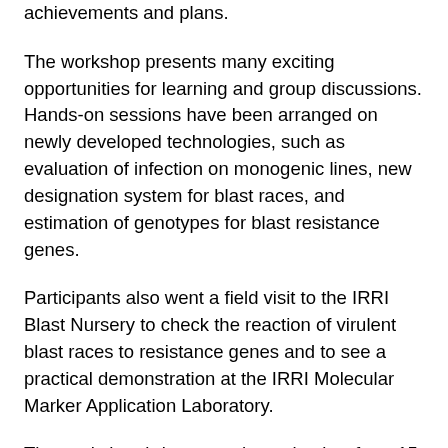achievements and plans.
The workshop presents many exciting opportunities for learning and group discussions. Hands-on sessions have been arranged on newly developed technologies, such as evaluation of infection on monogenic lines, new designation system for blast races, and estimation of genotypes for blast resistance genes.
Participants also went a field visit to the IRRI Blast Nursery to check the reaction of virulent blast races to resistance genes and to see a practical demonstration at the IRRI Molecular Marker Application Laboratory.
The workshop brings together scientists from 15 countries across South Asia, Southeast Asia, Europe, and America, plus representatives from JIRCAS and IRRI.
Eero Nissilä, in his opening remarks as head of the IRRI Plant Breeding, Genetics, and Biotechnology Division and leader of the Varietal Improvement Program, noted that this is the first time the JIRCAS Blast network and the TRRC Blast WG have combined efforts to face a blast research and